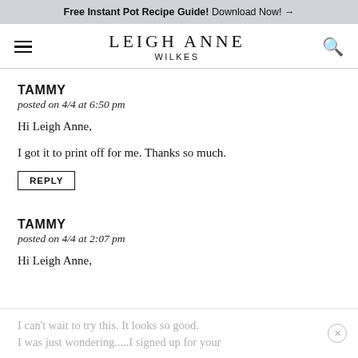Free Instant Pot Recipe Guide! Download Now! →
LEIGH ANNE WILKES
TAMMY
posted on 4/4 at 6:50 pm
Hi Leigh Anne,
I got it to print off for me. Thanks so much.
REPLY
TAMMY
posted on 4/4 at 2:07 pm
Hi Leigh Anne,
I can't wait to try this. It looks so good. I was just wondering.....I signed up for your